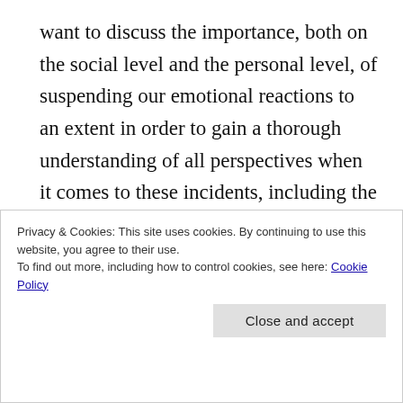want to discuss the importance, both on the social level and the personal level, of suspending our emotional reactions to an extent in order to gain a thorough understanding of all perspectives when it comes to these incidents, including the perspectives of the perpetrators.
“We do not know the limits of man’s capacities for supreme effort or willing degradation, for agony or for glee, for pleasurable brutality or the
Privacy & Cookies: This site uses cookies. By continuing to use this website, you agree to their use.
To find out more, including how to control cookies, see here: Cookie Policy
Close and accept
every individual lives, from one